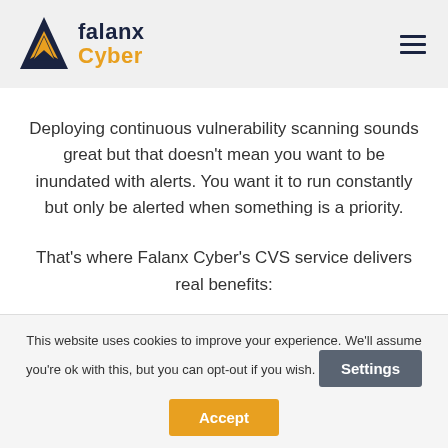[Figure (logo): Falanx Cyber logo with triangle/arrow icon in dark navy and gold, text 'falanx' in dark navy and 'Cyber' in gold/orange]
Deploying continuous vulnerability scanning sounds great but that doesn't mean you want to be inundated with alerts. You want it to run constantly but only be alerted when something is a priority.
That's where Falanx Cyber's CVS service delivers real benefits:
This website uses cookies to improve your experience. We'll assume you're ok with this, but you can opt-out if you wish.